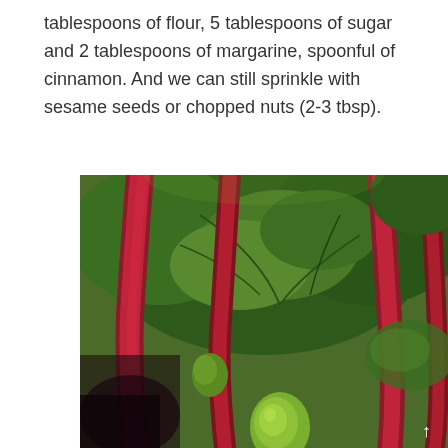tablespoons of flour, 5 tablespoons of sugar and 2 tablespoons of margarine, spoonful of cinnamon. And we can still sprinkle with sesame seeds or chopped nuts (2-3 tbsp).
[Figure (photo): Close-up photograph of rhubarb plant showing deep red/crimson stalks and large dark green crinkled leaves, with a small round green vegetable or bud visible at the bottom center.]